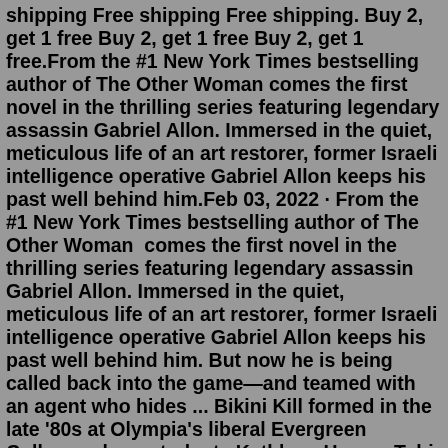shipping Free shipping Free shipping. Buy 2, get 1 free Buy 2, get 1 free Buy 2, get 1 free.From the #1 New York Times bestselling author of The Other Woman comes the first novel in the thrilling series featuring legendary assassin Gabriel Allon. Immersed in the quiet, meticulous life of an art restorer, former Israeli intelligence operative Gabriel Allon keeps his past well behind him.Feb 03, 2022 · From the #1 New York Times bestselling author of The Other Woman&#160; comes the first novel in the thrilling series featuring legendary assassin Gabriel Allon. Immersed in the quiet, meticulous life of an art restorer, former Israeli intelligence operative Gabriel Allon keeps his past well behind him. But now he is being called back into the game&mdash;and teamed with an agent who hides ... Bikini Kill formed in the late '80s at Olympia's liberal Evergreen College, where students Kathleen Hanna, Tobi Vail, and Kathi Wilcox first teamed to publish a feminist fanzine, also dubbed Bikini Kill. Seeking to bring the publication's agenda to life, they decided to form a band, enlisting